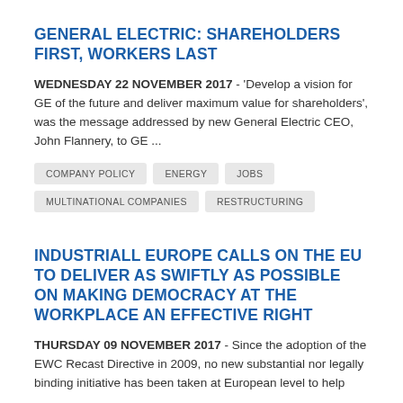GENERAL ELECTRIC: SHAREHOLDERS FIRST, WORKERS LAST
WEDNESDAY 22 NOVEMBER 2017 - ‘Develop a vision for GE of the future and deliver maximum value for shareholders’, was the message addressed by new General Electric CEO, John Flannery, to GE ...
COMPANY POLICY
ENERGY
JOBS
MULTINATIONAL COMPANIES
RESTRUCTURING
INDUSTRIALL EUROPE CALLS ON THE EU TO DELIVER AS SWIFTLY AS POSSIBLE ON MAKING DEMOCRACY AT THE WORKPLACE AN EFFECTIVE RIGHT
THURSDAY 09 NOVEMBER 2017 - Since the adoption of the EWC Recast Directive in 2009, no new substantial nor legally binding initiative has been taken at European level to help